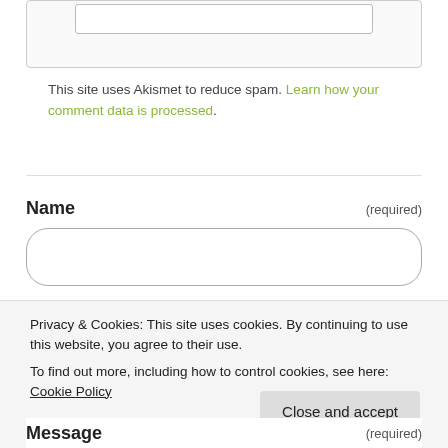This site uses Akismet to reduce spam. Learn how your comment data is processed.
Name (required)
Privacy & Cookies: This site uses cookies. By continuing to use this website, you agree to their use.
To find out more, including how to control cookies, see here: Cookie Policy
Close and accept
Message (required)